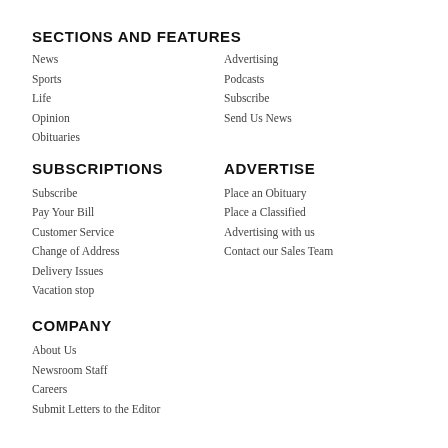SECTIONS AND FEATURES
News
Sports
Life
Opinion
Obituaries
Advertising
Podcasts
Subscribe
Send Us News
SUBSCRIPTIONS
ADVERTISE
Subscribe
Pay Your Bill
Customer Service
Change of Address
Delivery Issues
Vacation stop
Place an Obituary
Place a Classified
Advertising with us
Contact our Sales Team
COMPANY
About Us
Newsroom Staff
Careers
Submit Letters to the Editor